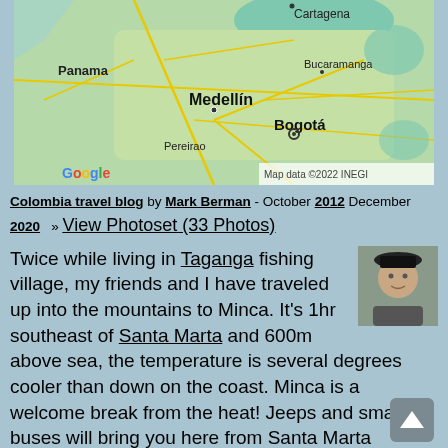[Figure (map): Google Maps screenshot showing northwestern Colombia with cities labeled: Panama (left), Cartagena (top), Bucaramanga (right), Medellín (center), Bogotá (center-right), Pereirao (bottom-left). Map data ©2022 INEGI.]
Colombia travel blog by Mark Berman - October 2012 December 2020   » View Photoset (33 Photos)
Twice while living in Taganga fishing village, my friends and I have traveled up into the mountains to Minca. It's 1hr southeast of Santa Marta and 600m above sea, the temperature is several degrees cooler than down on the coast. Minca is a welcome break from the heat! Jeeps and small buses will bring you here from Santa Marta Market.